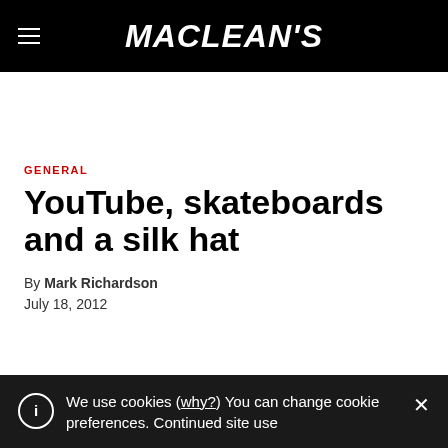MACLEAN'S
GENERAL
YouTube, skateboards and a silk hat
By Mark Richardson
July 18, 2012
We use cookies (why?) You can change cookie preferences. Continued site use